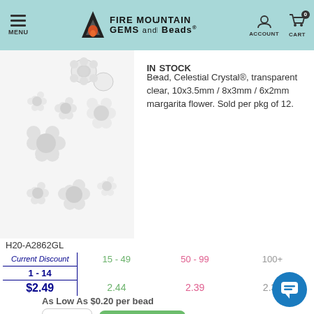MENU | FIRE MOUNTAIN GEMS and Beads® | ACCOUNT | CART 0
[Figure (photo): Transparent clear margarita flower beads of various sizes arranged on white background]
IN STOCK
Bead, Celestial Crystal®, transparent clear, 10x3.5mm / 8x3mm / 6x2mm margarita flower. Sold per pkg of 12.
H20-A2862GL
| Current Discount 1 - 14 | 15 - 49 | 50 - 99 | 100+ |
| --- | --- | --- | --- |
| $2.49 | 2.44 | 2.39 | 2.33 |
As Low As $0.20 per bead
REGULAR STOCK
IN STOCK
Bead, Celestial Crystal®, 32-facet,